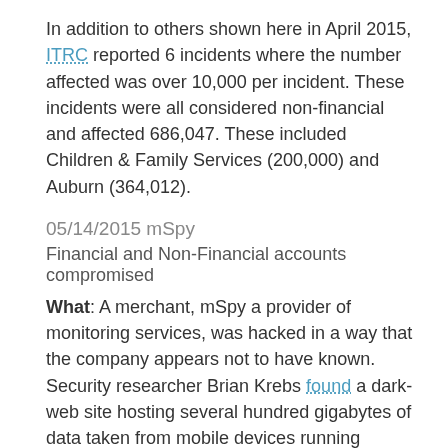In addition to others shown here in April 2015, ITRC reported 6 incidents where the number affected was over 10,000 per incident. These incidents were all considered non-financial and affected 686,047. These included Children & Family Services (200,000) and Auburn (364,012).
05/14/2015 mSpy
Financial and Non-Financial accounts compromised
What: A merchant, mSpy a provider of monitoring services, was hacked in a way that the company appears not to have known. Security researcher Brian Krebs found a dark-web site hosting several hundred gigabytes of data taken from mobile devices running mSpy's products.
Scope: Emails, text messages, payment information and location data. The unknown hackers indicate the whole